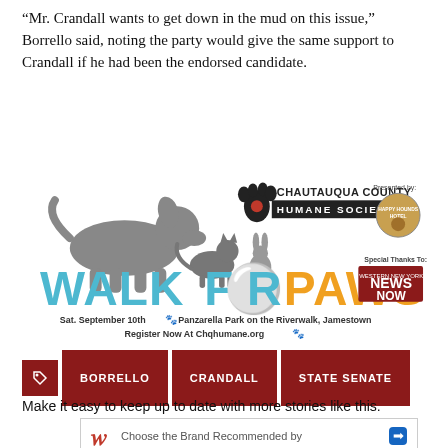“Mr. Crandall wants to get down in the mud on this issue,” Borrello said, noting the party would give the same support to Crandall if he had been the endorsed candidate.
[Figure (illustration): Walk for Paws event advertisement for Chautauqua County Humane Society. Features silhouettes of dog, cat, and rabbit. Blue text: WALK, yellow text: FOR PAWS. Sat. September 10th, Panzarella Park on the Riverwalk, Jamestown. Register Now At Chqhumane.org. Presented by Happy Hounds Hotel. Special Thanks To: Western New York News Now.]
BORRELLO
CRANDALL
STATE SENATE
Make it easy to keep up to date with more stories like this.
[Figure (illustration): Walgreens advertisement: Choose the Brand Recommended by Walgreens Pharmacists. Shows Walgreens logo and navigation arrow icon.]